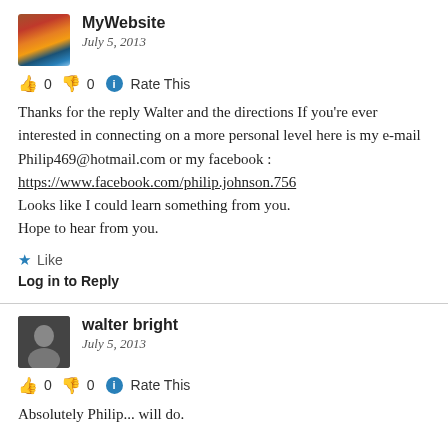MyWebsite
July 5, 2013
👍 0 👎 0 ℹ Rate This
Thanks for the reply Walter and the directions If you're ever interested in connecting on a more personal level here is my e-mail Philip469@hotmail.com or my facebook : https://www.facebook.com/philip.johnson.756
Looks like I could learn something from you.
Hope to hear from you.
★ Like
Log in to Reply
walter bright
July 5, 2013
👍 0 👎 0 ℹ Rate This
Absolutely Philip... will do.